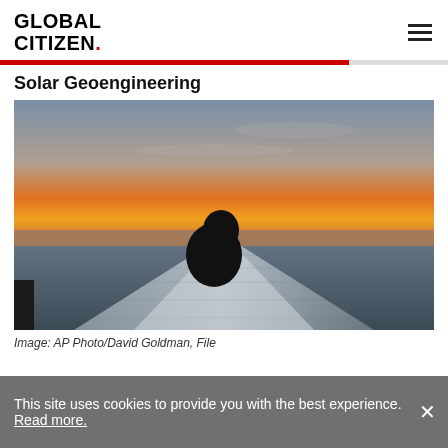GLOBAL CITIZEN.
Solar Geoengineering
[Figure (photo): Silhouette of a person standing on a ship deck looking out at an ocean sunset/sunrise, with a ship's wake visible on the water. The sky is orange near the horizon fading to blue-grey above.]
Image: AP Photo/David Goldman, File
This site uses cookies to provide you with the best experience. Read more.